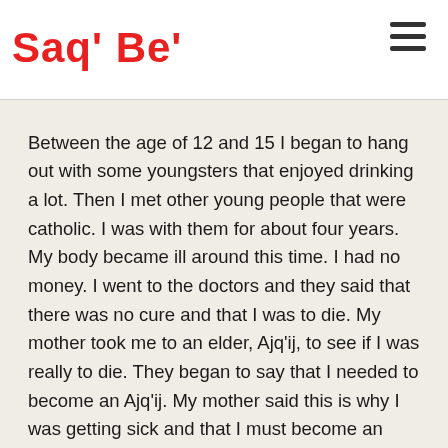Saq' Be'
Between the age of 12 and 15 I began to hang out with some youngsters that enjoyed drinking a lot. Then I met other young people that were catholic. I was with them for about four years. My body became ill around this time. I had no money. I went to the doctors and they said that there was no cure and that I was to die. My mother took me to an elder, Ajq'ij, to see if I was really to die. They began to say that I needed to become an Ajq'ij. My mother said this is why I was getting sick and that I must become an Ajq'ij. So, what I did was to gather with other Ajq'ij to perform ceremonies. Since that date, I was to serve only one god. When the elder Ajq'ij would see me carrying materials up to the altars, they would ask if I was